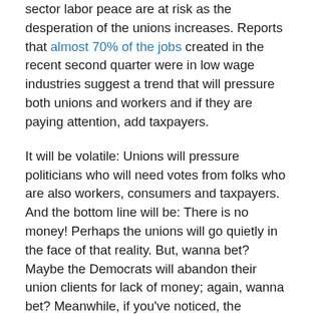sector labor peace are at risk as the desperation of the unions increases. Reports that almost 70% of the jobs created in the recent second quarter were in low wage industries suggest a trend that will pressure both unions and workers and if they are paying attention, add taxpayers.
It will be volatile: Unions will pressure politicians who will need votes from folks who are also workers, consumers and taxpayers. And the bottom line will be: There is no money! Perhaps the unions will go quietly in the face of that reality. But, wanna bet? Maybe the Democrats will abandon their union clients for lack of money; again, wanna bet? Meanwhile, if you've noticed, the government has been raising taxes. Maybe that will stop. Wanna bet?
The bottom line here is, everybody—government, unions, business, workers— are all contending, likely soon to be